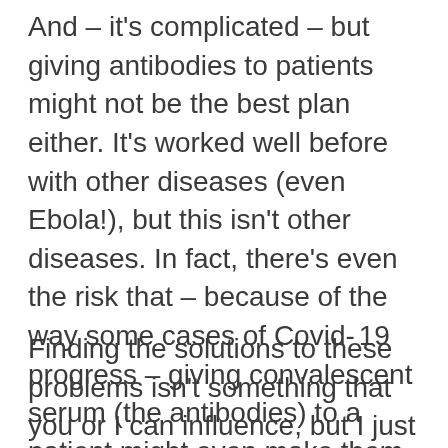And – it's complicated – but giving antibodies to patients might not be the best plan either. It's worked well before with other diseases (even Ebola!), but this isn't other diseases. In fact, there's even the risk that – because of the way some cases of Covid-19 progress – giving convalescent serum (the antibodies) to a patient might even make them sicker.
Finding the solutions to these problems isn't something that you or I can influence, but I just felt that it was worth putting it out there that you should probably